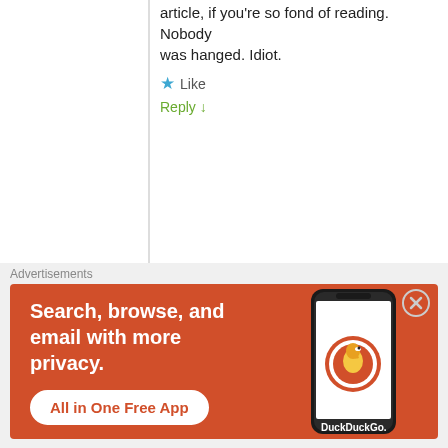article, if you're so fond of reading. Nobody was hanged. Idiot.
★ Like
Reply ↓
aicha fethiza ali
April 13, 2016 • 4:46 am
👍 2 👎 0 ℹ Rate This
It is wrong for Hamza to steal and give to the pore ppl and it is right for America to steal our oil and to put her noise in our pesnes saying that's she's saving us or that there is a wopen on masse destruction and she's never found !
Advertisements
[Figure (screenshot): DuckDuckGo advertisement banner: orange background with text 'Search, browse, and email with more privacy. All in One Free App' and a phone showing the DuckDuckGo app.]